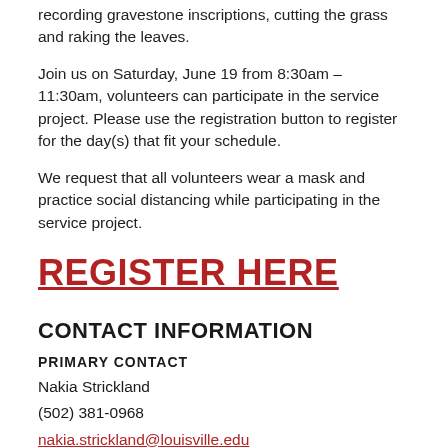recording gravestone inscriptions, cutting the grass and raking the leaves.
Join us on Saturday, June 19 from 8:30am - 11:30am, volunteers can participate in the service project. Please use the registration button to register for the day(s) that fit your schedule.
We request that all volunteers wear a mask and practice social distancing while participating in the service project.
REGISTER HERE
CONTACT INFORMATION
PRIMARY CONTACT
Nakia Strickland
(502) 381-0968
nakia.strickland@louisville.edu
SECONDARY CONTACT